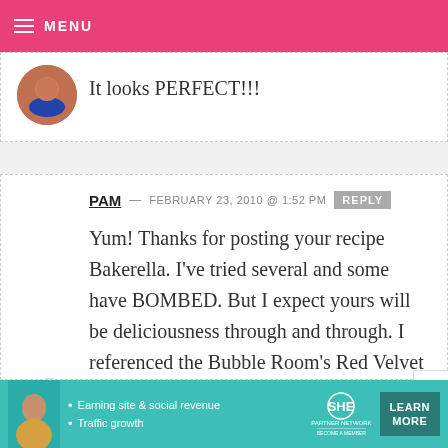MENU
It looks PERFECT!!!
PAM — FEBRUARY 23, 2010 @ 1:52 PM
Yum! Thanks for posting your recipe Bakerella. I've tried several and some have BOMBED. But I expect yours will be deliciousness through and through. I referenced the Bubble Room's Red Velvet Cake in my comment yesterday. Here is their recipe (3 layers, so more
[Figure (infographic): SHE Partner Network advertisement banner with teal background, person photo, bullet points about earning and traffic growth, SHE logo, and Learn More button]